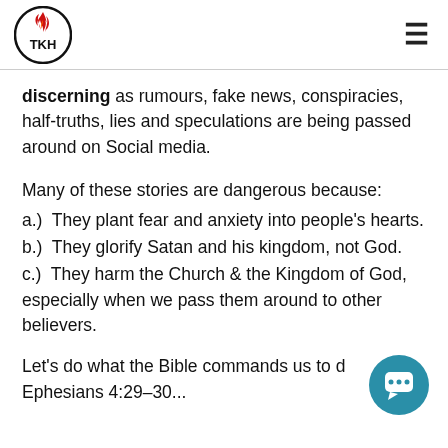TKH logo and hamburger menu
discerning as rumours, fake news, conspiracies, half-truths, lies and speculations are being passed around on Social media.
Many of these stories are dangerous because:
a.) They plant fear and anxiety into people's hearts.
b.) They glorify Satan and his kingdom, not God.
c.) They harm the Church & the Kingdom of God, especially when we pass them around to other believers.
Let's do what the Bible commands us to d… Ephesians 4:29–30...